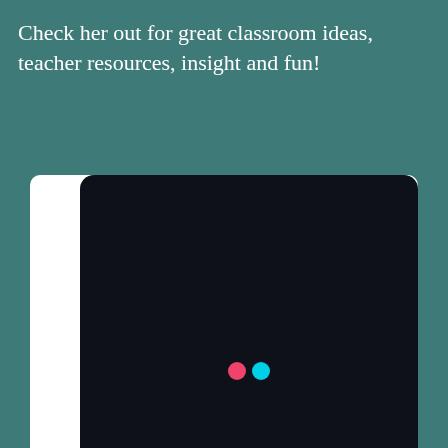Check her out for great classroom ideas, teacher resources, insight and fun!
[Figure (screenshot): A dark-themed web page screenshot with a white border and rounded top corners, showing a nearly black panel with two small colored dots (pink and cyan/blue, resembling the Flickr logo) near the bottom center of the panel.]